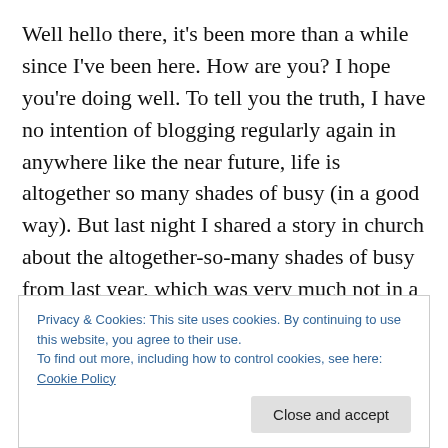Well hello there, it's been more than a while since I've been here. How are you? I hope you're doing well. To tell you the truth, I have no intention of blogging regularly again in anywhere like the near future, life is altogether so many shades of busy (in a good way). But last night I shared a story in church about the altogether-so-many shades of busy from last year, which was very much not in a good way. Many of you will know this story, if you're friends with me on Facebook, although I haven't told it like this, from my perspective, until now. And there are a few of
Privacy & Cookies: This site uses cookies. By continuing to use this website, you agree to their use.
To find out more, including how to control cookies, see here: Cookie Policy
Close and accept
but it was so long, so big, so…much…that I'd not had the